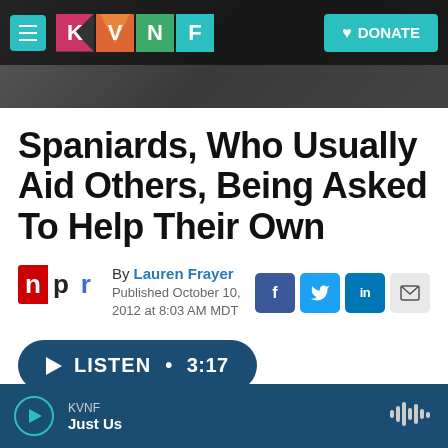KVNF — Navigation bar with logo and DONATE button
Spaniards, Who Usually Aid Others, Being Asked To Help Their Own
By Lauren Frayer
Published October 10, 2012 at 8:03 AM MDT
LISTEN • 3:17
KVNF — Just Us